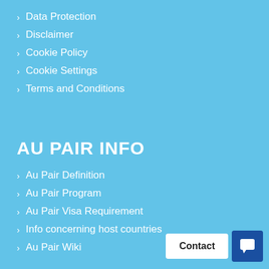Data Protection
Disclaimer
Cookie Policy
Cookie Settings
Terms and Conditions
AU PAIR INFO
Au Pair Definition
Au Pair Program
Au Pair Visa Requirement
Info concerning host countries
Au Pair Wiki